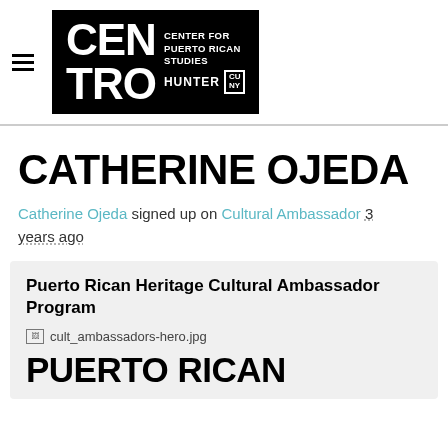CENTRO | Center for Puerto Rican Studies | Hunter | CUNY
CATHERINE OJEDA
Catherine Ojeda signed up on Cultural Ambassador 3 years ago
Puerto Rican Heritage Cultural Ambassador Program
[Figure (photo): Broken image placeholder: cult_ambassadors-hero.jpg]
PUERTO RICAN